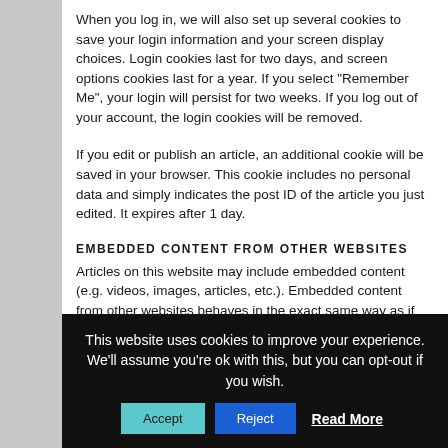When you log in, we will also set up several cookies to save your login information and your screen display choices. Login cookies last for two days, and screen options cookies last for a year. If you select “Remember Me”, your login will persist for two weeks. If you log out of your account, the login cookies will be removed.
If you edit or publish an article, an additional cookie will be saved in your browser. This cookie includes no personal data and simply indicates the post ID of the article you just edited. It expires after 1 day.
EMBEDDED CONTENT FROM OTHER WEBSITES
Articles on this website may include embedded content (e.g. videos, images, articles, etc.). Embedded content from other websites behaves in the exact same way as if the visitor has visited the other website.
This website uses cookies to improve your experience. We’ll assume you’re ok with this, but you can opt-out if you wish.
Accept   Reject   Read More